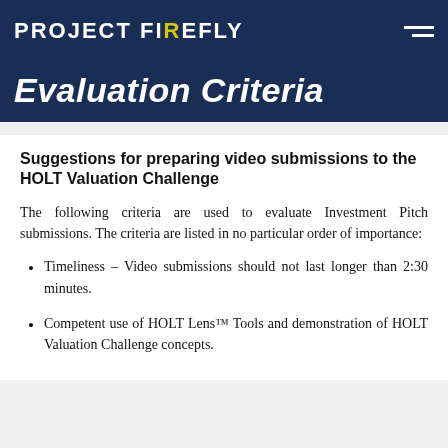PROJECT FIREFLY
Evaluation Criteria
Suggestions for preparing video submissions to the HOLT Valuation Challenge
The following criteria are used to evaluate Investment Pitch submissions. The criteria are listed in no particular order of importance:
Timeliness – Video submissions should not last longer than 2:30 minutes.
Competent use of HOLT Lens™ Tools and demonstration of HOLT Valuation Challenge concepts.